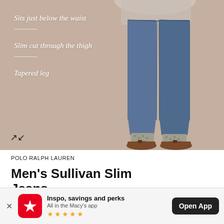[Figure (photo): A man wearing slim-fit blue jeans (Sullivan Slim Jeans by Polo Ralph Lauren) with brown tassel loafers and patterned socks, cropped to show waist to feet. Background is a warm taupe/beige. Overlaid text on the left describes fit features: 'Sits just below the waist', 'Slim cut through the thigh', 'Tapered leg' with horizontal dividers between them. An expand/fullscreen icon appears at the bottom left.]
Sits just below the waist
Slim cut through the thigh
Tapered leg
POLO RALPH LAUREN
Men's Sullivan Slim Jeans
Inspo, savings and perks
All in the Macy's app
★★★★★